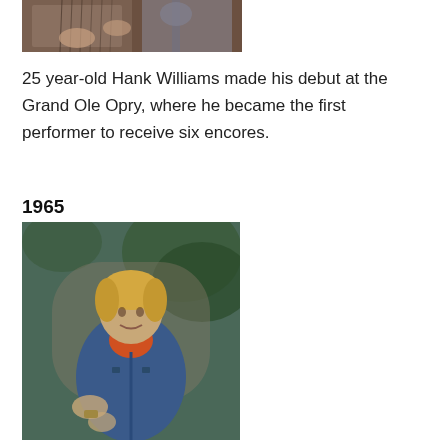[Figure (photo): Partial photo of Hank Williams playing guitar, cropped showing upper portion]
25 year-old Hank Williams made his debut at the Grand Ole Opry, where he became the first performer to receive six encores.
1965
[Figure (photo): Color photo of a blond man in a blue jacket and orange shirt, seated and posing for the camera in front of foliage background]
(partial text cut off at bottom)